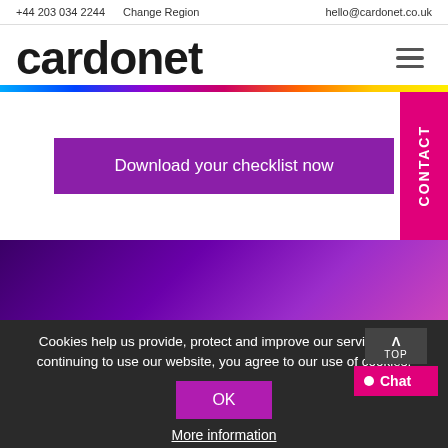+44 203 034 2244   Change Region   hello@cardonet.co.uk
[Figure (logo): Cardonet logo in bold black lowercase text with hamburger menu icon]
[Figure (infographic): Rainbow colored horizontal stripe divider]
Download your checklist now
CONTACT
[Figure (infographic): Purple to magenta gradient background section]
Cookies help us provide, protect and improve our services. By continuing to use our website, you agree to our use of cookies.
OK
More information
TOP
Chat